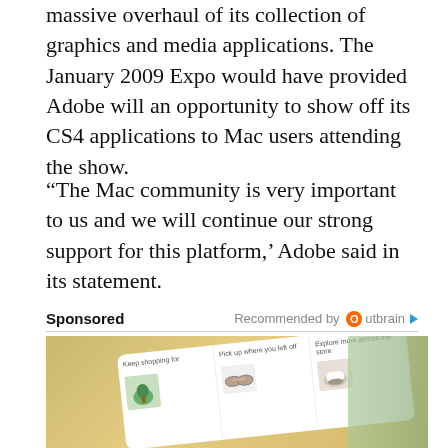massive overhaul of its collection of graphics and media applications. The January 2009 Expo would have provided Adobe will an opportunity to show off its CS4 applications to Mac users attending the show.
“The Mac community is very important to us and we will continue our strong support for this platform,’ Adobe said in its statement.
Sponsored   Recommended by Outbrain
[Figure (photo): Advertisement image showing a smartphone screen with shopping app cards: 'Keep shopping for', 'Pick up where you left off', and 'Explore more across the store', with product images of a plant, sunglasses, and a shoe.]